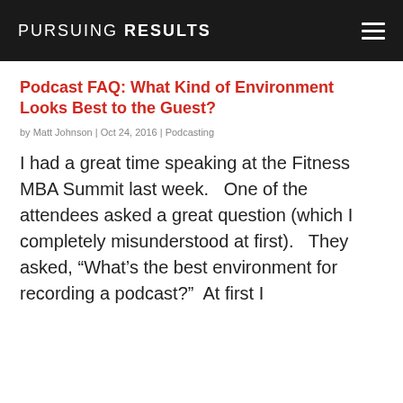PURSUING RESULTS
Podcast FAQ: What Kind of Environment Looks Best to the Guest?
by Matt Johnson | Oct 24, 2016 | Podcasting
I had a great time speaking at the Fitness MBA Summit last week.   One of the attendees asked a great question (which I completely misunderstood at first).   They asked, “What’s the best environment for recording a podcast?”  At first I